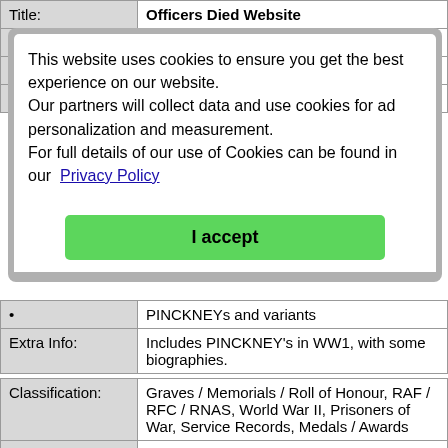| Field | Value |
| --- | --- |
| Title: | Officers Died Website |
|  | .htm |
|  | ster |
|  | World |
This website uses cookies to ensure you get the best experience on our website. Our partners will collect data and use cookies for ad personalization and measurement. For full details of our use of Cookies can be found in our Privacy Policy
I accept
| Field | Value |
| --- | --- |
|  | PINCKNEYs and variants |
| Extra Info: | Includes PINCKNEY's in WW1, with some biographies. |
| Field | Value |
| --- | --- |
| Classification: | Graves / Memorials / Roll of Honour, RAF / RFC / RNAS, World War II, Prisoners of War, Service Records, Medals / Awards |
| Title: | RAF Records : The Genealogist |
| Link: | https://www.thegenealogist.co.uk/affiliate/?affid=... |
|  | Researching the RAF records for family |